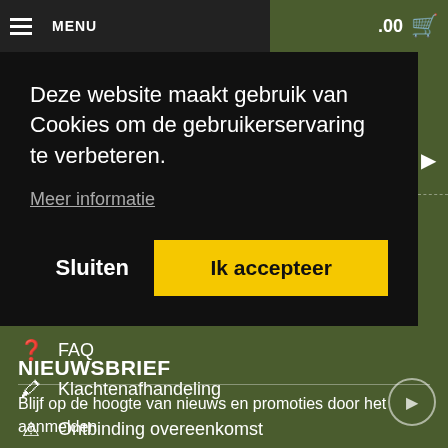MENU | .00 [cart icon]
Deze website maakt gebruik van Cookies om de gebruikerservaring te verbeteren.
Meer informatie
Sluiten
Ik accepteer
FAQ
Klachtenafhandeling
Ontbinding overeenkomst
Retourneren
Modelformulier voor herroeping
Cookies
NIEUWSBRIEF
Blijf op de hoogte van nieuws en promoties door het aanmelden